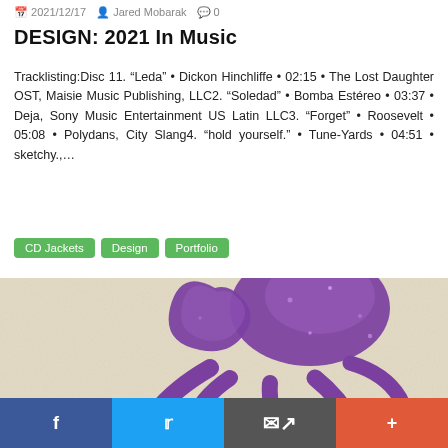2021/12/17  Jared Mobarak  0
DESIGN: 2021 In Music
Tracklisting:Disc 11. “Leda” • Dickon Hinchliffe • 02:15 • The Lost Daughter OST, Maisie Music Publishing, LLC2. “Soledad” • Bomba Estéreo • 03:37 • Deja, Sony Music Entertainment US Latin LLC3. “Forget” • Roosevelt • 05:08 • Polydans, City Slang4. “hold yourself.” • Tune-Yards • 04:51 • sketchy.,…
CD Jackets
Design
Portfolio
[Figure (photo): Close-up photo of a purple glittery octopus design/illustration on a cream/tan textured background — partial view showing tentacles and body]
Social share bar: Facebook, Twitter, Email, More